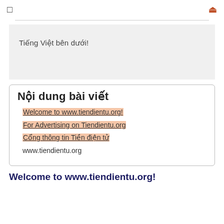☰  🔍
Tiếng Việt bên dưới!
Nội dung bài viết
Welcome to www.tiendientu.org!
For Advertising on Tiendientu.org
Cổng thông tin Tiền điện tử
www.tiendientu.org
Welcome to www.tiendientu.org!